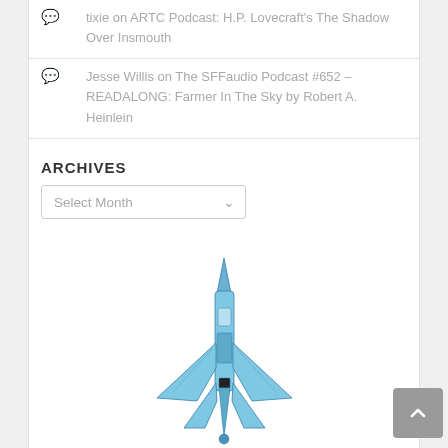tixie on ARTC Podcast: H.P. Lovecraft's The Shadow Over Insmouth
Jesse Willis on The SFFaudio Podcast #652 – READALONG: Farmer In The Sky by Robert A. Heinlein
ARCHIVES
Select Month
[Figure (illustration): Top-down view illustration of a blue military jet aircraft (fighter jet), pointing upward, with swept wings and tail fins visible.]